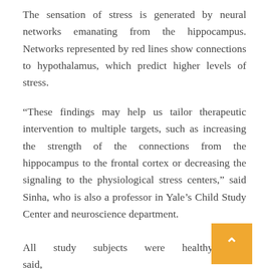The sensation of stress is generated by neural networks emanating from the hippocampus. Networks represented by red lines show connections to hypothalamus, which predict higher levels of stress.
“These findings may help us tailor therapeutic intervention to multiple targets, such as increasing the strength of the connections from the hippocampus to the frontal cortex or decreasing the signaling to the physiological stress centers,” said Sinha, who is also a professor in Yale’s Child Study Center and neuroscience department.
All study subjects were healthy, she said, some cases their responses during the experiment